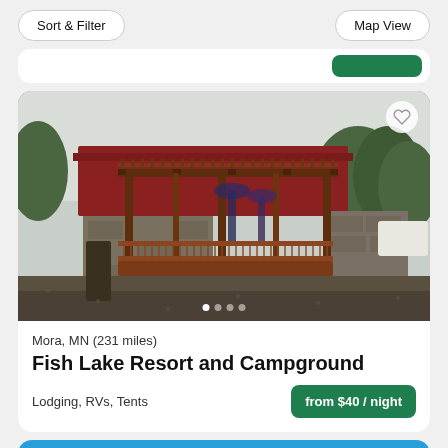Sort & Filter
Map View
[Figure (photo): Exterior photo of Fish Lake Resort and Campground showing a large wooden pergola/deck structure with red metal roof building behind it, gravel parking area in foreground, trees in background]
Mora, MN (231 miles)
Fish Lake Resort and Campground
Lodging, RVs, Tents
from $40 / night